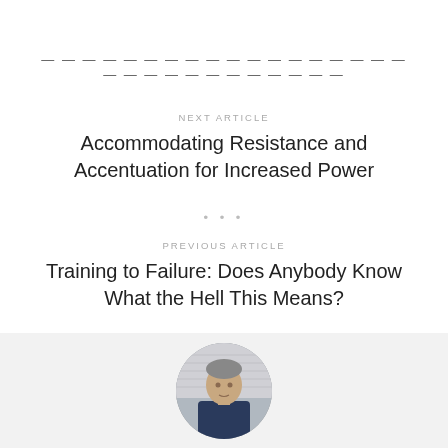— — — — — — — — — — — — — — — — — — — — — — — — — — — — — —
NEXT ARTICLE
Accommodating Resistance and Accentuation for Increased Power
• • •
PREVIOUS ARTICLE
Training to Failure: Does Anybody Know What the Hell This Means?
[Figure (photo): Circular author avatar photo of a man in a dark shirt, photographed indoors]